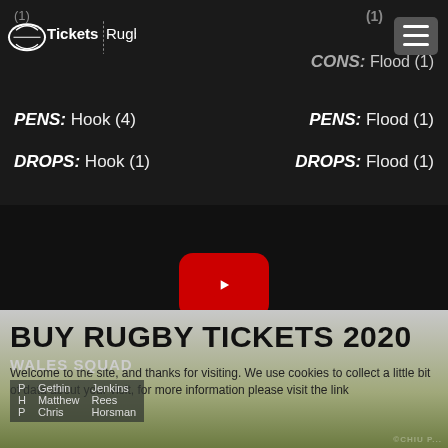[Figure (logo): TicketsRugby logo with rugby ball icon on dark background]
(1)
CONS: Flood (1)
PENS: Hook (4)
PENS: Flood (1)
DROPS: Hook (1)
DROPS: Flood (1)
[Figure (screenshot): YouTube video player embed showing play button on dark background]
BUY RUGBY TICKETS 2020
Welcome to the site, and thanks for visiting. We use cookies to collect a little bit of data about your visit, for more information please visit the link
WALES SQUAD
|  |  |  |
| --- | --- | --- |
| P | Gethin | Jenkins |
| H | Matthew | Rees |
| P | Chris | Horsman |